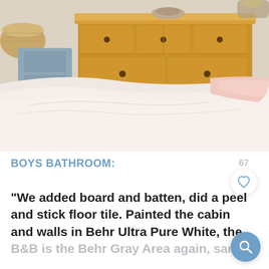[Figure (photo): Interior bedroom photo showing a wooden dresser with multiple drawers and small round knobs, a wicker basket to the left, a pink step stool, blue/gray painted furniture, and a close-up of a light pink/white bedspread in the foreground]
BOYS BATHROOM:
“We added board and batten, did a peel and stick floor tile. Painted the cabinets and walls in Behr Ultra Pure White, the B&B is the Behr Gray Area again, same